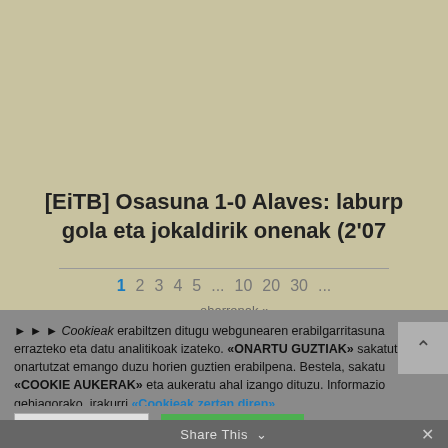[Figure (photo): Soccer players on a field, partial view showing lower bodies and legs, with advertising boards visible in background (CaixaBank logo visible). Players in dark and white kits.]
[EiTB] Osasuna 1-0 Alaves: laburp... gola eta jokaldirik onenak (2'07...
1  2  3  4  5  ...  10  20  30  ...
oharrenak »
► ► ► Cookieak erabiltzen ditugu webgunearen erabilgarritasuna errazteko eta datu analitikoak izateko. «ONARTU GUZTIAK» sakatuta onartutzat emango duzu horien guztien erabilpena. Bestela, sakatu «COOKIE AUKERAK» eta aukeratu ahal izango dituzu. Informazio gehiagorako, irakurri «Cookieak zertan diren»
COOKIE AUKERAK
ONARTU GUZTIAK
Share This